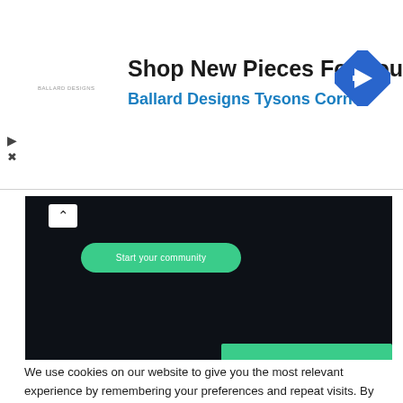[Figure (screenshot): Advertisement banner for Ballard Designs Tysons Corner with a blue diamond navigation icon, small logo text, and arrow/close icons on the left]
[Figure (screenshot): Dark-themed app interface screenshot showing a 'Start your community' green pill button and a green bar at the bottom]
We use cookies on our website to give you the most relevant experience by remembering your preferences and repeat visits. By clicking “Accept All”, you consent to the use of ALL the cookies. However, you may visit "Cookie Settings" to provide a controlled consent.
Cookie Settings
Accept All